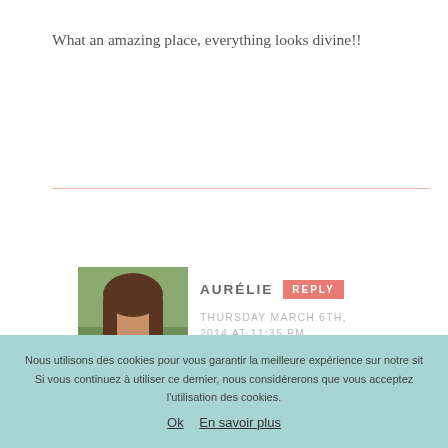What an amazing place, everything looks divine!!
It was :)
AURÉLIE
THURSDAY MARCH 6TH, 2014 AT 11:35 PM
[Figure (photo): Profile photo of Aurélie, a woman with long brown hair, wearing a floral blue dress, outdoors with greenery in background]
ANNE-CHARLO
Nous utilisons des cookies pour vous garantir la meilleure expérience sur notre site. Si vous continuez à utiliser ce dernier, nous considérerons que vous acceptez l'utilisation des cookies.
Ok   En savoir plus